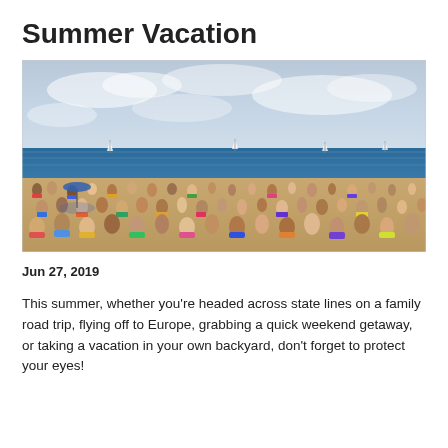Summer Vacation
[Figure (photo): Crowded beach scene with many people sunbathing and relaxing on sand near the ocean, with sailboats visible on the water and a partly cloudy blue sky above.]
Jun 27, 2019
This summer, whether you're headed across state lines on a family road trip, flying off to Europe, grabbing a quick weekend getaway, or taking a vacation in your own backyard, don't forget to protect your eyes!